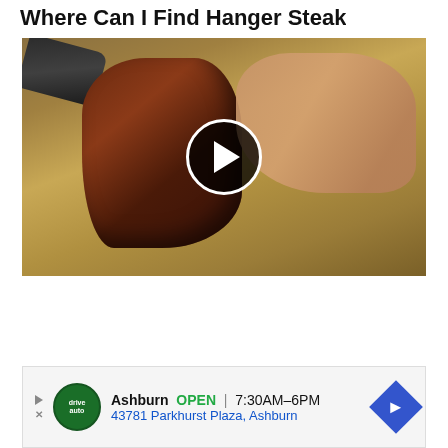Where Can I Find Hanger Steak
[Figure (screenshot): Video thumbnail showing a butcher trimming a hanger steak on a wooden cutting board, with a large knife visible at top left and the butcher's hands working on the meat. A white-bordered circular play button is centered over the image.]
[Figure (infographic): Advertisement for a local auto business in Ashburn. Shows business logo (green circle with 'drive auto' text), business name 'Ashburn', status 'OPEN', hours '7:30AM-6PM', address '43781 Parkhurst Plaza, Ashburn', and a blue navigation diamond arrow icon. Ad has left-side forward and close icons.]